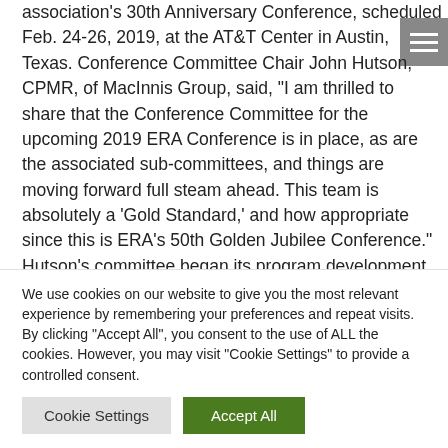association's 30th Anniversary Conference, scheduled Feb. 24-26, 2019, at the AT&T Center in Austin, Texas. Conference Committee Chair John Hutson, CPMR, of MacInnis Group, said, "I am thrilled to share that the Conference Committee for the upcoming 2019 ERA Conference is in place, as are the associated sub-committees, and things are moving forward full steam ahead. This team is absolutely a 'Gold Standard,' and how appropriate since this is ERA's 50th Golden Jubilee Conference."
Hutson's committee began its program development
We use cookies on our website to give you the most relevant experience by remembering your preferences and repeat visits. By clicking "Accept All", you consent to the use of ALL the cookies. However, you may visit "Cookie Settings" to provide a controlled consent.